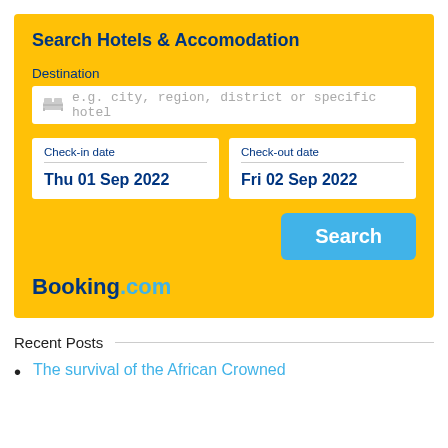Search Hotels & Accomodation
Destination
e.g. city, region, district or specific hotel
Check-in date
Thu 01 Sep 2022
Check-out date
Fri 02 Sep 2022
Search
Booking.com
Recent Posts
The survival of the African Crowned